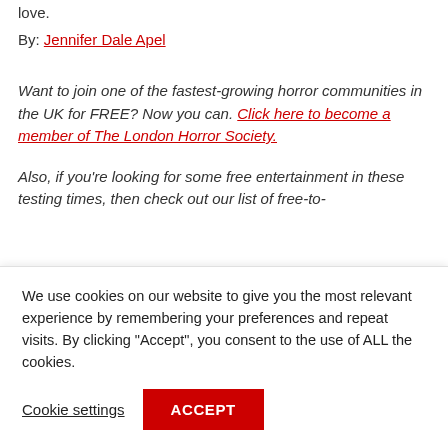love.
By: Jennifer Dale Apel
Want to join one of the fastest-growing horror communities in the UK for FREE? Now you can. Click here to become a member of The London Horror Society.
Also, if you're looking for some free entertainment in these testing times, then check out our list of free-to-
We use cookies on our website to give you the most relevant experience by remembering your preferences and repeat visits. By clicking “Accept”, you consent to the use of ALL the cookies.
Cookie settings
ACCEPT